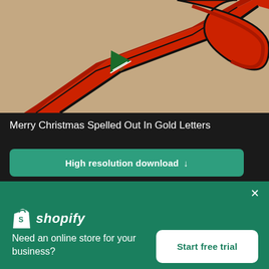[Figure (photo): Close-up photo of a red Christmas ribbon with a green Christmas tree pattern on a brown/beige background]
Merry Christmas Spelled Out In Gold Letters
High resolution download ↓
[Figure (photo): Partial view of a colorful Christmas-themed image strip]
[Figure (logo): Shopify logo - white shopping bag icon with 'shopify' text in white italic]
Need an online store for your business?
Start free trial